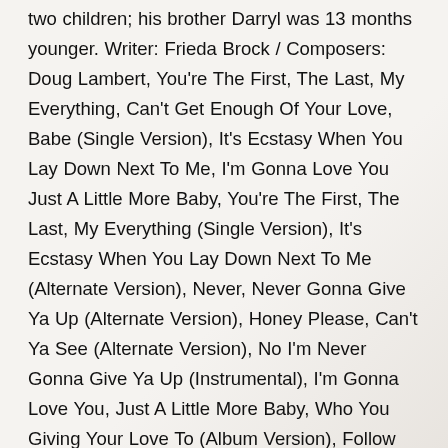two children; his brother Darryl was 13 months younger. Writer: Frieda Brock / Composers: Doug Lambert, You're The First, The Last, My Everything, Can't Get Enough Of Your Love, Babe (Single Version), It's Ecstasy When You Lay Down Next To Me, I'm Gonna Love You Just A Little More Baby, You're The First, The Last, My Everything (Single Version), It's Ecstasy When You Lay Down Next To Me (Alternate Version), Never, Never Gonna Give Ya Up (Alternate Version), Honey Please, Can't Ya See (Alternate Version), No I'm Never Gonna Give Ya Up (Instrumental), I'm Gonna Love You, Just A Little More Baby, Who You Giving Your Love To (Album Version), Follow That And See (Where It Leads